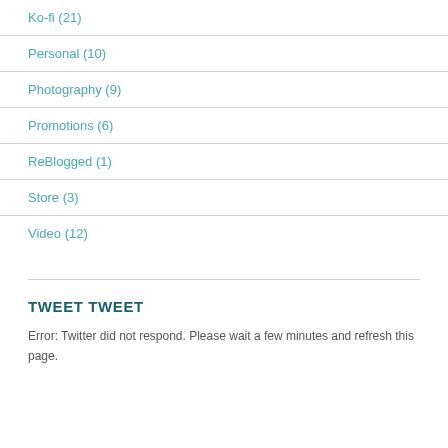Ko-fi (21)
Personal (10)
Photography (9)
Promotions (6)
ReBlogged (1)
Store (3)
Video (12)
TWEET TWEET
Error: Twitter did not respond. Please wait a few minutes and refresh this page.